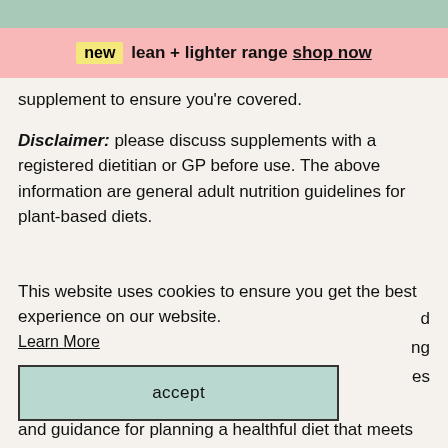new  lean + lighter range shop now
supplement to ensure you’re covered.
Disclaimer: please discuss supplements with a registered dietitian or GP before use. The above information are general adult nutrition guidelines for plant-based diets.
This website uses cookies to ensure you get the best experience on our website.
Learn More
accept
and guidance for planning a healthful diet that meets